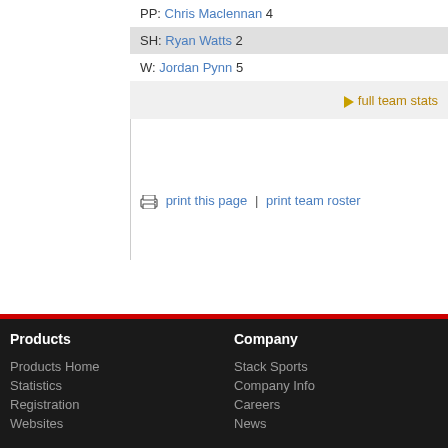PP: Chris Maclennan 4
SH: Ryan Watts 2
W: Jordan Pynn 5
full team stats
print this page | print team roster
Products
Company
Products Home
Statistics
Registration
Websites
Stack Sports
Company Info
Careers
News